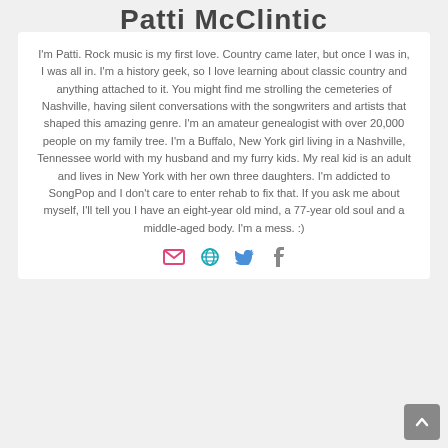Patti McClintic
I'm Patti. Rock music is my first love. Country came later, but once I was in, I was all in. I'm a history geek, so I love learning about classic country and anything attached to it. You might find me strolling the cemeteries of Nashville, having silent conversations with the songwriters and artists that shaped this amazing genre. I'm an amateur genealogist with over 20,000 people on my family tree. I'm a Buffalo, New York girl living in a Nashville, Tennessee world with my husband and my furry kids. My real kid is an adult and lives in New York with her own three daughters. I'm addicted to SongPop and I don't care to enter rehab to fix that. If you ask me about myself, I'll tell you I have an eight-year old mind, a 77-year old soul and a middle-aged body. I'm a mess. :)
[Figure (infographic): Row of social media icons: email (pink envelope), globe (teal), Twitter bird (blue), Facebook f (gray)]